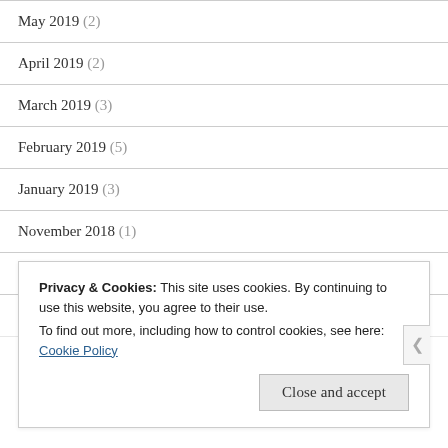May 2019 (2)
April 2019 (2)
March 2019 (3)
February 2019 (5)
January 2019 (3)
November 2018 (1)
October 2018 (2)
September 2018 (1)
August 2018 (6)
Privacy & Cookies: This site uses cookies. By continuing to use this website, you agree to their use.
To find out more, including how to control cookies, see here: Cookie Policy
[Close and accept]